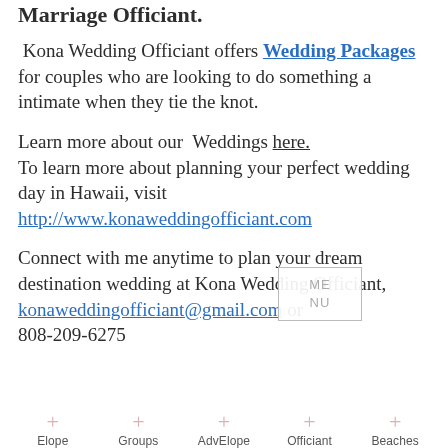Marriage Officiant.
Kona Wedding Officiant offers Wedding Packages for couples who are looking to do something a intimate when they tie the knot.
Learn more about our Weddings here. To learn more about planning your perfect wedding day in Hawaii, visit http://www.konaweddingofficiant.com
Connect with me anytime to plan your dream destination wedding at Kona Wedding Officiant, konaweddingofficiant@gmail.com or 808-209-6275
Elope  Groups  AdvElope  Officiant  Beaches